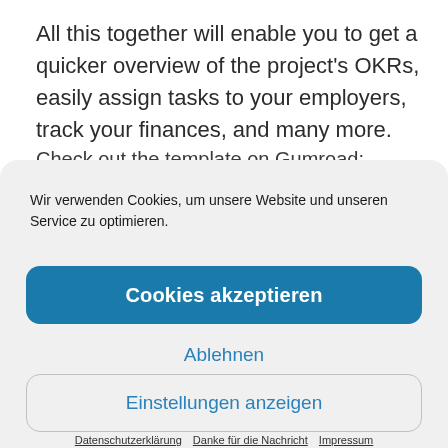All this together will enable you to get a quicker overview of the project's OKRs, easily assign tasks to your employers, track your finances, and many more.
Check out the template on Gumroad:
Wir verwenden Cookies, um unsere Website und unseren Service zu optimieren.
Cookies akzeptieren
Ablehnen
Einstellungen anzeigen
Datenschutzerklärung   Danke für die Nachricht   Impressum